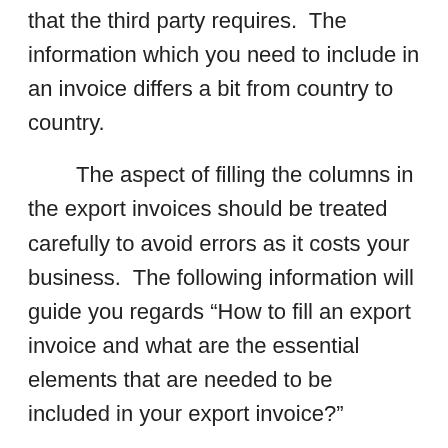contracts and provides the information that the third party requires.  The information which you need to include in an invoice differs a bit from country to country.
The aspect of filling the columns in the export invoices should be treated carefully to avoid errors as it costs your business.  The following information will guide you regards “How to fill an export invoice and what are the essential elements that are needed to be included in your export invoice?”
The important elements in export invoices are as under: –